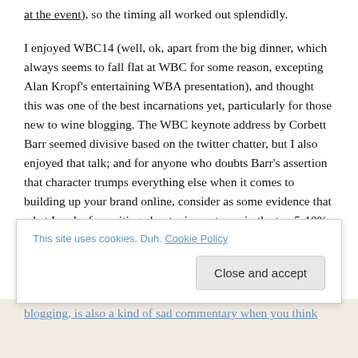at the event), so the timing all worked out splendidly.
I enjoyed WBC14 (well, ok, apart from the big dinner, which always seems to fall flat at WBC for some reason, excepting Alan Kropf’s entertaining WBA presentation), and thought this was one of the best incarnations yet, particularly for those new to wine blogging. The WBC keynote address by Corbett Barr seemed divisive based on the twitter chatter, but I also enjoyed that talk; and for anyone who doubts Barr’s assertion that character trumps everything else when it comes to building up your brand online, consider as some evidence that what I make for writing about wine puts me in the top 5-10% of all U.S. wine writers (and it’s a sad commentary that amount is only bonus-level money compared to my previous corporate gig).
I won't comment on the Wine Blog Awards. No offense
This site uses cookies. Duh. Cookie Policy
Close and accept
blogging, is also a kind of sad commentary when you think